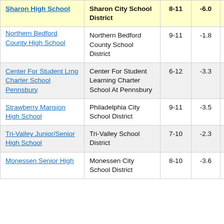| School | District | Grades | Score1 | Score2 |
| --- | --- | --- | --- | --- |
| Sharon High School | Sharon City School District | 8-11 | -6.0 | 2 |
| Northern Bedford County High School | Northern Bedford County School District | 9-11 | -1.8 |  |
| Center For Student Lrng Charter School Pennsbury | Center For Student Learning Charter School At Pennsbury | 6-12 | -3.3 |  |
| Strawberry Mansion High School | Philadelphia City School District | 9-11 | -3.5 |  |
| Tri-Valley Junior/Senior High School | Tri-Valley School District | 7-10 | -2.3 |  |
| Monessen Senior High | Monessen City School District | 8-10 | -3.6 |  |